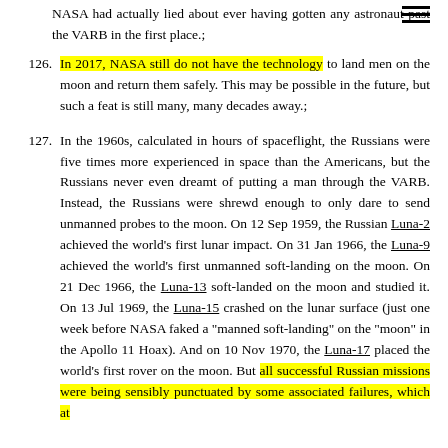NASA had actually lied about ever having gotten any astronaut past the VARB in the first place.;
126. In 2017, NASA still do not have the technology to land men on the moon and return them safely. This may be possible in the future, but such a feat is still many, many decades away.;
127. In the 1960s, calculated in hours of spaceflight, the Russians were five times more experienced in space than the Americans, but the Russians never even dreamt of putting a man through the VARB. Instead, the Russians were shrewd enough to only dare to send unmanned probes to the moon. On 12 Sep 1959, the Russian Luna-2 achieved the world's first lunar impact. On 31 Jan 1966, the Luna-9 achieved the world's first unmanned soft-landing on the moon. On 21 Dec 1966, the Luna-13 soft-landed on the moon and studied it. On 13 Jul 1969, the Luna-15 crashed on the lunar surface (just one week before NASA faked a "manned soft-landing" on the "moon" in the Apollo 11 Hoax). And on 10 Nov 1970, the Luna-17 placed the world's first rover on the moon. But all successful Russian missions were being sensibly punctuated by some associated failures, which at